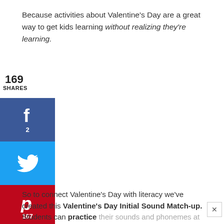Because activities about Valentine’s Day are a great way to get kids learning without realizing they’re learning.
169 SHARES
[Figure (infographic): Social share buttons: Facebook (f, 2), Twitter (bird icon), Pinterest (P, 167), Reddit (alien icon)]
So to connect Valentine’s Day with literacy we’ve created this Valentine’s Day Initial Sound Match-up. Students can practice their sounds and phonemes at the beginning of words in a hands-on way!